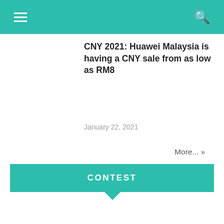CNY 2021: Huawei Malaysia is having a CNY sale from as low as RM8
January 22, 2021
More... »
CONTEST